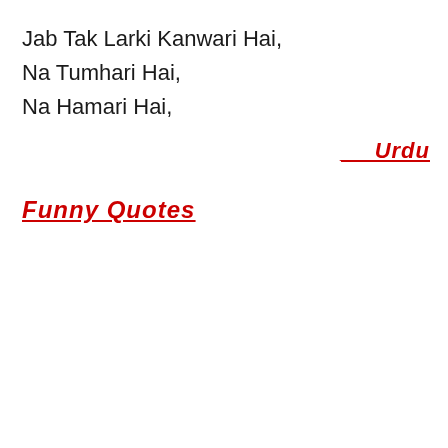Jab Tak Larki Kanwari Hai,
Na Tumhari Hai,
Na Hamari Hai,
__ Urdu
Funny Quotes